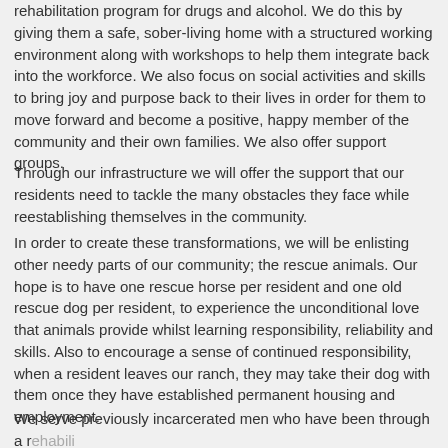rehabilitation program for drugs and alcohol. We do this by giving them a safe, sober-living home with a structured working environment along with workshops to help them integrate back into the workforce. We also focus on social activities and skills to bring joy and purpose back to their lives in order for them to move forward and become a positive, happy member of the community and their own families. We also offer support groups.
Through our infrastructure we will offer the support that our residents need to tackle the many obstacles they face while reestablishing themselves in the community.
In order to create these transformations, we will be enlisting other needy parts of our community; the rescue animals. Our hope is to have one rescue horse per resident and one old rescue dog per resident, to experience the unconditional love that animals provide whilst learning responsibility, reliability and skills. Also to encourage a sense of continued responsibility, when a resident leaves our ranch, they may take their dog with them once they have established permanent housing and employment.
We serve previously incarcerated men who have been through a rehabilitation program and who have disestablished themselves and...